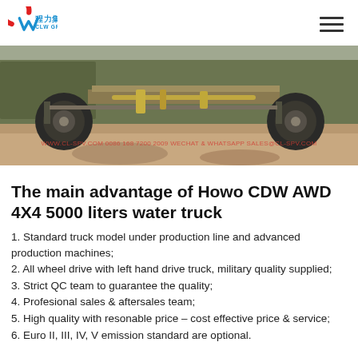CLW GROUP 程力集团
[Figure (photo): Side view of a Howo CDW AWD 4X4 military-style water truck chassis on a dirt/concrete surface. The undercarriage with axles and frame is visible. A watermark reads: WWW.CL-SPV.COM 0086 168 7200 2009 WECHAT & WHATSAPP SALES@CL-SPV.COM]
The main advantage of Howo CDW AWD 4X4 5000 liters water truck
1. Standard truck model under production line and advanced production machines;
2. All wheel drive with left hand drive truck, military quality supplied;
3. Strict QC team to guarantee the quality;
4. Profesional sales & aftersales team;
5. High quality with resonable price – cost effective price & service;
6. Euro II, III, IV, V emission standard are optional.